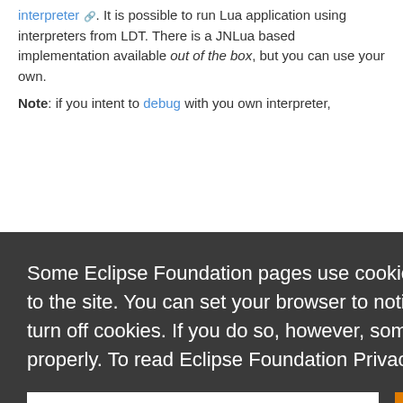interpreter. It is possible to run Lua application using interpreters from LDT. There is a JNLua based implementation available out of the box, but you can use your own.
Note: if you intent to debug with you own interpreter,
Some Eclipse Foundation pages use cookies to better serve you when you return to the site. You can set your browser to notify you before you receive a cookie or turn off cookies. If you do so, however, some areas of some sites may not function properly. To read Eclipse Foundation Privacy Policy click here.
Decline
Allow cookies
running on your desktop. Your application will be executed by an interpreter referenced in LDT. LDT will